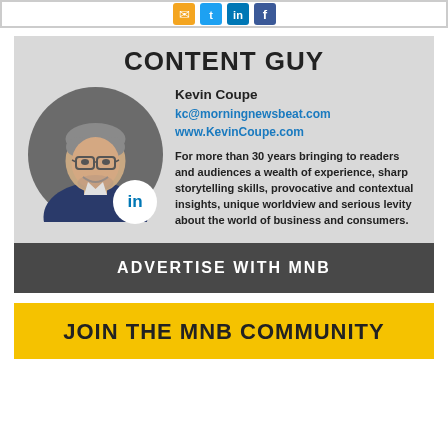[Figure (infographic): Social media icon buttons: email (orange), Twitter (blue), LinkedIn (blue), Facebook (blue)]
CONTENT GUY
[Figure (photo): Circular headshot photo of Kevin Coupe, a middle-aged man with gray hair and glasses, smiling, wearing a blue jacket. A LinkedIn 'in' badge appears at the bottom right of the photo circle.]
Kevin Coupe
kc@morningnewsbeat.com
www.KevinCoupe.com

For more than 30 years bringing to readers and audiences a wealth of experience, sharp storytelling skills, provocative and contextual insights, unique worldview and serious levity about the world of business and consumers.
ADVERTISE WITH MNB
JOIN THE MNB COMMUNITY